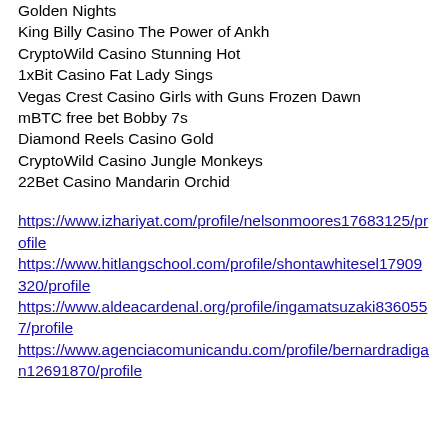Golden Nights
King Billy Casino The Power of Ankh
CryptoWild Casino Stunning Hot
1xBit Casino Fat Lady Sings
Vegas Crest Casino Girls with Guns Frozen Dawn
mBTC free bet Bobby 7s
Diamond Reels Casino Gold
CryptoWild Casino Jungle Monkeys
22Bet Casino Mandarin Orchid
https://www.izhariyat.com/profile/nelsonmoores17683125/profile
https://www.hitlangschool.com/profile/shontawhitesel17909320/profile
https://www.aldeacardenal.org/profile/ingamatsuzaki8360557/profile
https://www.agenciacomunicandu.com/profile/bernardradigan12691870/profile